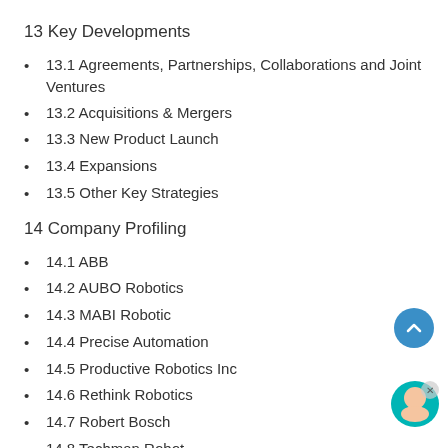13 Key Developments
13.1 Agreements, Partnerships, Collaborations and Joint Ventures
13.2 Acquisitions & Mergers
13.3 New Product Launch
13.4 Expansions
13.5 Other Key Strategies
14 Company Profiling
14.1 ABB
14.2 AUBO Robotics
14.3 MABI Robotic
14.4 Precise Automation
14.5 Productive Robotics Inc
14.6 Rethink Robotics
14.7 Robert Bosch
14.8 Techman Robot
14.9 Carbon Robotics